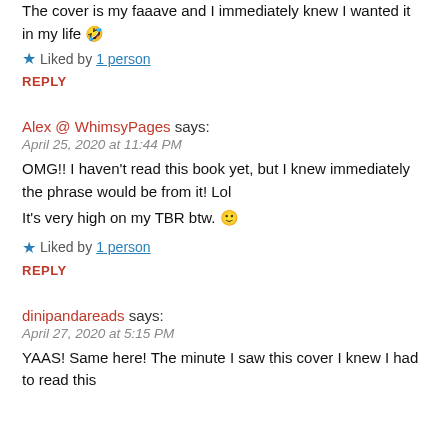dinipandareads says:
April 27, 2020 at 5:14 PM
The cover is my faaave and I immediately knew I wanted it in my life 🤣
★ Liked by 1 person
REPLY
Alex @ WhimsyPages says:
April 25, 2020 at 11:44 PM
OMG!! I haven't read this book yet, but I knew immediately the phrase would be from it! Lol
It's very high on my TBR btw. 🙂
★ Liked by 1 person
REPLY
dinipandareads says:
April 27, 2020 at 5:15 PM
YAAS! Same here! The minute I saw this cover I knew I had to read this